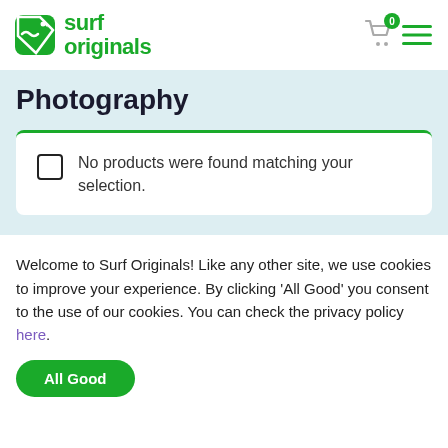[Figure (logo): Surf Originals logo with green tag icon and green bold text]
Photography
No products were found matching your selection.
Welcome to Surf Originals! Like any other site, we use cookies to improve your experience. By clicking 'All Good' you consent to the use of our cookies. You can check the privacy policy here.